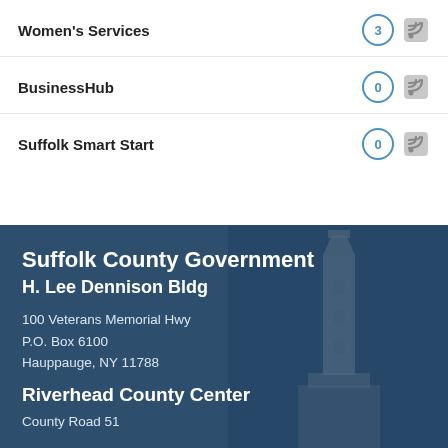Women's Services — 3
BusinessHub — 0
Suffolk Smart Start — 0
Suffolk County Government
H. Lee Dennison Bldg
100 Veterans Memorial Hwy
P.O. Box 6100
Hauppauge, NY 11788
Riverhead County Center
County Road 51